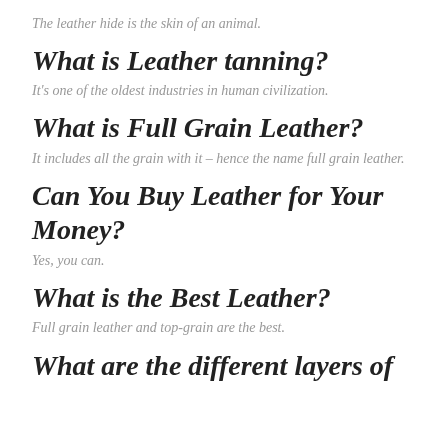The leather hide is the skin of an animal.
What is Leather tanning?
It's one of the oldest industries in human civilization.
What is Full Grain Leather?
It includes all the grain with it – hence the name full grain leather.
Can You Buy Leather for Your Money?
Yes, you can.
What is the Best Leather?
Full grain leather and top-grain are the best.
What are the different layers of